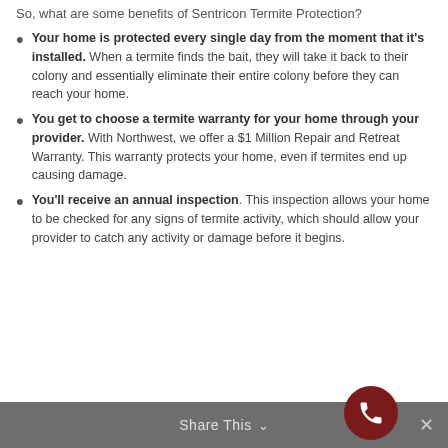So, what are some benefits of Sentricon Termite Protection?
Your home is protected every single day from the moment that it's installed. When a termite finds the bait, they will take it back to their colony and essentially eliminate their entire colony before they can reach your home.
You get to choose a termite warranty for your home through your provider. With Northwest, we offer a $1 Million Repair and Retreat Warranty. This warranty protects your home, even if termites end up causing damage.
You'll receive an annual inspection. This inspection allows your home to be checked for any signs of termite activity, which should allow your provider to catch any activity or damage before it begins.
Share This ∨ ✕